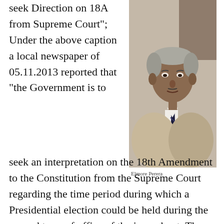seek Direction on 18A from Supreme Court"; Under the above caption a local newspaper of 05.11.2013 reported that “the Government is to
[Figure (photo): Portrait photo of Elmore Perera, an elderly man in a suit and tie seated at a desk]
Elmore Perera
seek an interpretation on the 18th Amendment to the Constitution from the Supreme Court regarding the time period during which a Presidential election could be held during the second term of office of the incumbent. The Government is to seek a direction from the Supreme Court purportedly due to the fact that the 18th Amendment to the Constitution which removed the two-term bar from